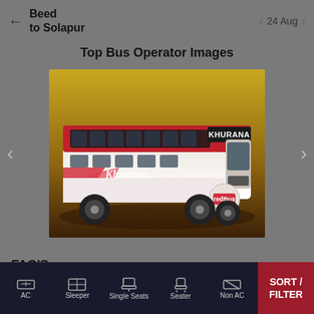Beed to Solapur — 24 Aug
Top Bus Operator Images
[Figure (photo): A Khurana branded double-decker style bus (red, white, pink) with redBus logo, set against a yellow-brown background.]
FAQ'S
AC | Sleeper | Single Seats | Seater | Non AC | SORT / FILTER